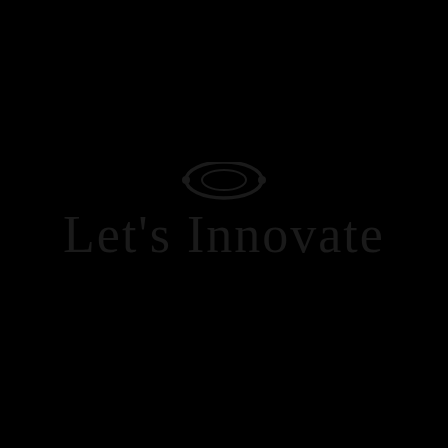[Figure (logo): A dark logo on black background showing the text 'Let's Innovate' in large serif font, rendered in very dark color against a black background, creating a subtle contrast effect. The text appears centered on the page.]